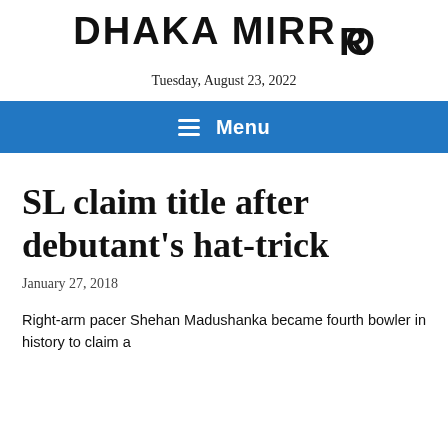DHAKA MIRROR
Tuesday, August 23, 2022
SL claim title after debutant's hat-trick
January 27, 2018
Right-arm pacer Shehan Madushanka became fourth bowler in history to claim a